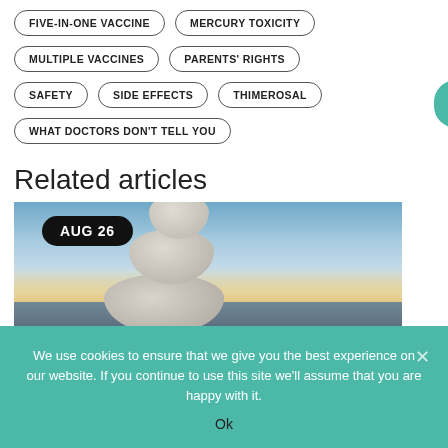FIVE-IN-ONE VACCINE
MERCURY TOXICITY
MULTIPLE VACCINES
PARENTS' RIGHTS
SAFETY
SIDE EFFECTS
THIMEROSAL
WHAT DOCTORS DON'T TELL YOU
Related articles
[Figure (photo): Stacked balancing stones on a beach with blue sky and horizon glow, overlaid with date badge AUG 26]
We use cookies to ensure that we give you the best experience on our website. If you continue to use this site we'll assume that you are happy with it.
Ok